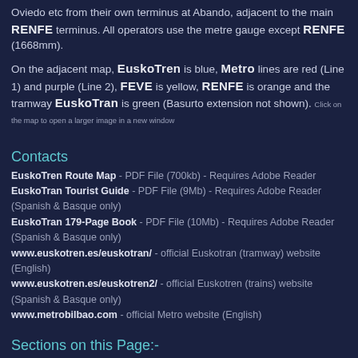Oviedo etc from their own terminus at Abando, adjacent to the main RENFE terminus. All operators use the metre gauge except RENFE (1668mm).
On the adjacent map, EuskoTren is blue, Metro lines are red (Line 1) and purple (Line 2), FEVE is yellow, RENFE is orange and the tramway EuskoTran is green (Basurto extension not shown). Click on the map to open a larger image in a new window
Contacts
EuskoTren Route Map - PDF File (700kb) - Requires Adobe Reader
EuskoTran Tourist Guide - PDF File (9Mb) - Requires Adobe Reader (Spanish & Basque only)
EuskoTran 179-Page Book - PDF File (10Mb) - Requires Adobe Reader (Spanish & Basque only)
www.euskotren.es/euskotran/ - official Euskotran (tramway) website (English)
www.euskotren.es/euskotren2/ - official Euskotren (trains) website (Spanish & Basque only)
www.metrobilbao.com - official Metro website (English)
Sections on this Page:-
Metro Bilbao
EuskoTran
EuskoTren
FEVE